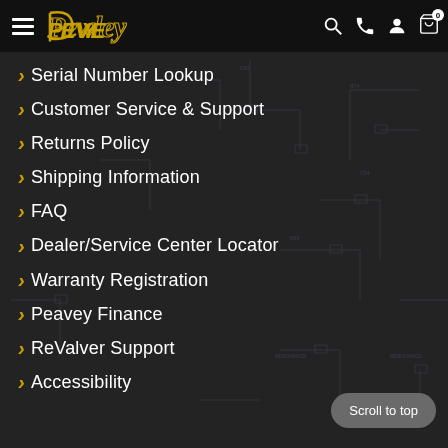Peavey - Navigation Menu Header
Serial Number Lookup
Customer Service & Support
Returns Policy
Shipping Information
FAQ
Dealer/Service Center Locator
Warranty Registration
Peavey Finance
ReValver Support
Accessibility
Scroll to top